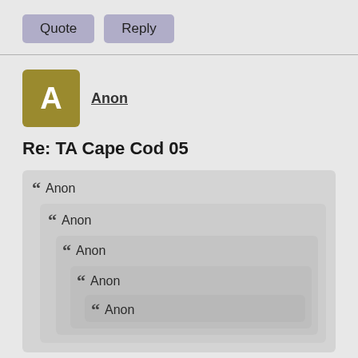Quote  Reply
Anon
Re: TA Cape Cod 05
Anon
Anon
Anon
Anon
Anon